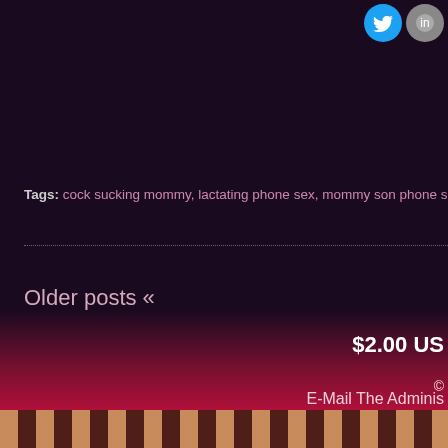Tags: cock sucking mommy, lactating phone sex, mommy son phone sex, sissy b...
Older posts «
$2.00 US
©
E-Mail The Adminis...